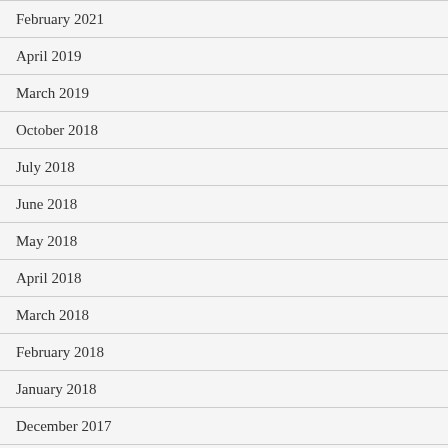February 2021
April 2019
March 2019
October 2018
July 2018
June 2018
May 2018
April 2018
March 2018
February 2018
January 2018
December 2017
November 2017